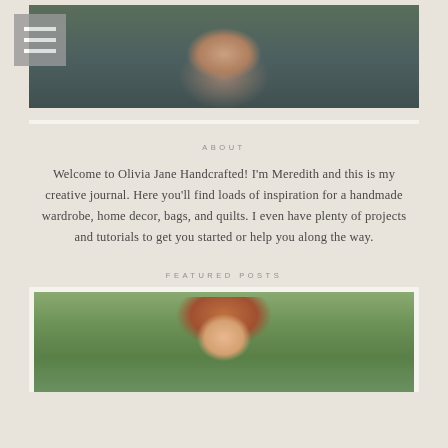[Figure (photo): Photo of a woman with red/auburn hair wearing a gray sleeveless top, photographed outdoors with green foliage background. A hamburger menu icon is overlaid in the top left corner.]
ABOUT
Welcome to Olivia Jane Handcrafted! I'm Meredith and this is my creative journal. Here you'll find loads of inspiration for a handmade wardrobe, home decor, bags, and quilts. I even have plenty of projects and tutorials to get you started or help you along the way.
FEATURED POSTS
[Figure (photo): Photo of a woman with long red/auburn hair smiling, photographed outdoors with green foliage background.]